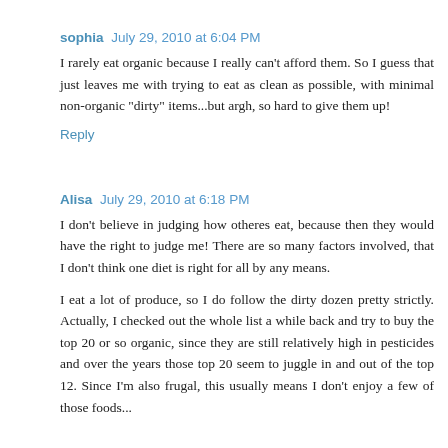sophia  July 29, 2010 at 6:04 PM
I rarely eat organic because I really can't afford them. So I guess that just leaves me with trying to eat as clean as possible, with minimal non-organic "dirty" items...but argh, so hard to give them up!
Reply
Alisa  July 29, 2010 at 6:18 PM
I don't believe in judging how otheres eat, because then they would have the right to judge me! There are so many factors involved, that I don't think one diet is right for all by any means.
I eat a lot of produce, so I do follow the dirty dozen pretty strictly. Actually, I checked out the whole list a while back and try to buy the top 20 or so organic, since they are still relatively high in pesticides and over the years those top 20 seem to juggle in and out of the top 12. Since I'm also frugal, this usually means I don't enjoy a few of those foods...